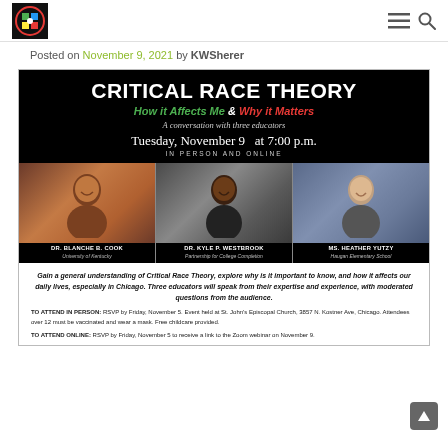Site logo and navigation
Posted on November 9, 2021 by KWSherer
[Figure (infographic): Event flyer for 'Critical Race Theory: How it Affects Me & Why it Matters – A conversation with three educators'. Tuesday, November 9 at 7:00 p.m. In Person and Online. Speakers: Dr. Blanche B. Cook (University of Kentucky), Dr. Kyle P. Westbrook (Partnership for College Completion), Ms. Heather Yutzy (Haugan Elementary School). Details about attending in person and online.]